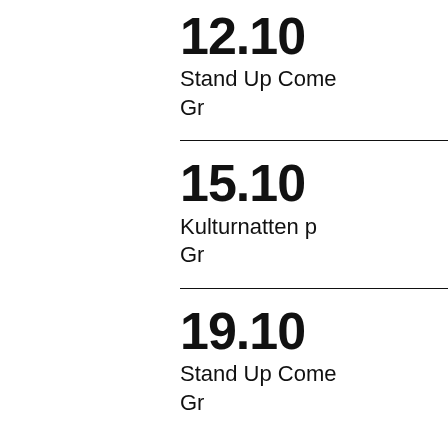12.10
Stand Up Come
Gr
15.10
Kulturnatten p
Gr
19.10
Stand Up Come
Gr